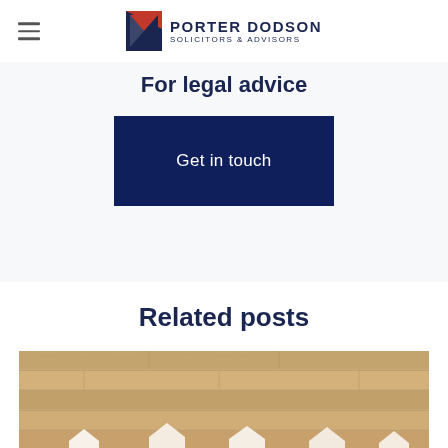Porter Dodson Solicitors & Advisors
For legal advice
Get in touch
Related posts
[Figure (photo): Photo of wooden floor planks with small white paper house shapes arranged on the surface]